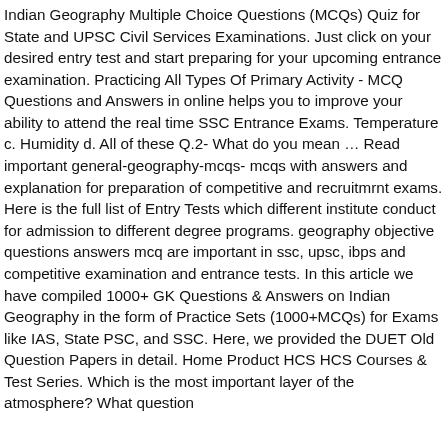Indian Geography Multiple Choice Questions (MCQs) Quiz for State and UPSC Civil Services Examinations. Just click on your desired entry test and start preparing for your upcoming entrance examination. Practicing All Types Of Primary Activity - MCQ Questions and Answers in online helps you to improve your ability to attend the real time SSC Entrance Exams. Temperature c. Humidity d. All of these Q.2- What do you mean … Read important general-geography-mcqs- mcqs with answers and explanation for preparation of competitive and recruitmrnt exams. Here is the full list of Entry Tests which different institute conduct for admission to different degree programs. geography objective questions answers mcq are important in ssc, upsc, ibps and competitive examination and entrance tests. In this article we have compiled 1000+ GK Questions & Answers on Indian Geography in the form of Practice Sets (1000+MCQs) for Exams like IAS, State PSC, and SSC. Here, we provided the DUET Old Question Papers in detail. Home Product HCS HCS Courses & Test Series. Which is the most important layer of the atmosphere? What question